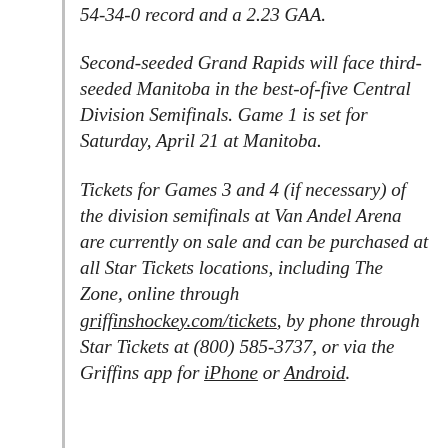54-34-0 record and a 2.23 GAA.
Second-seeded Grand Rapids will face third-seeded Manitoba in the best-of-five Central Division Semifinals. Game 1 is set for Saturday, April 21 at Manitoba.
Tickets for Games 3 and 4 (if necessary) of the division semifinals at Van Andel Arena are currently on sale and can be purchased at all Star Tickets locations, including The Zone, online through griffinshockey.com/tickets, by phone through Star Tickets at (800) 585-3737, or via the Griffins app for iPhone or Android.